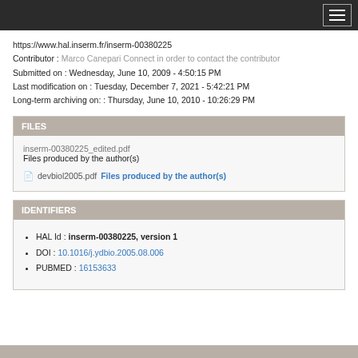[hamburger menu icon]
https://www.hal.inserm.fr/inserm-00380225
Contributor : Marco Canepari Connect in order to contact the contributor
Submitted on : Wednesday, June 10, 2009 - 4:50:15 PM
Last modification on : Tuesday, December 7, 2021 - 5:42:21 PM
Long-term archiving on: : Thursday, June 10, 2010 - 10:26:29 PM
FILES
inserm-00380225_edited.pdf
Files produced by the author(s)
devbiol2005.pdf   Files produced by the author(s)
IDENTIFIERS
HAL Id : inserm-00380225, version 1
DOI : 10.1016/j.ydbio.2005.08.006
PUBMED : 16153633